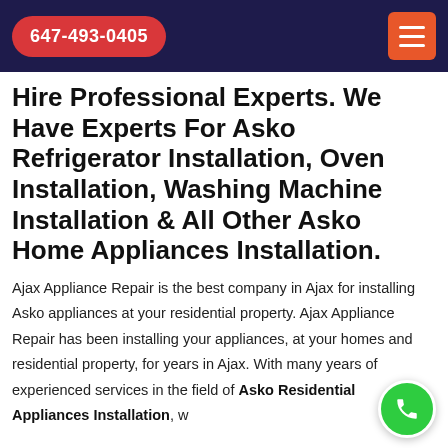647-493-0405
Hire Professional Experts. We Have Experts For Asko Refrigerator Installation, Oven Installation, Washing Machine Installation & All Other Asko Home Appliances Installation.
Ajax Appliance Repair is the best company in Ajax for installing Asko appliances at your residential property. Ajax Appliance Repair has been installing your appliances, at your homes and residential property, for years in Ajax. With many years of experienced services in the field of Asko Residential Appliances Installation, w…